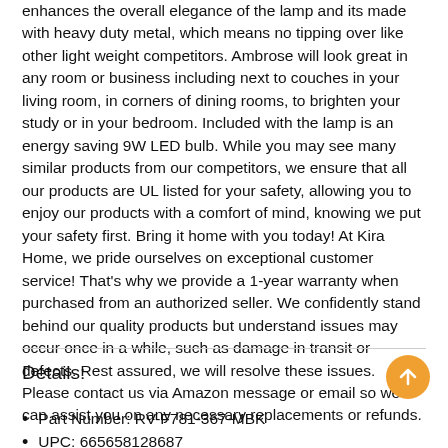enhances the overall elegance of the lamp and its made with heavy duty metal, which means no tipping over like other light weight competitors. Ambrose will look great in any room or business including next to couches in your living room, in corners of dining rooms, to brighten your study or in your bedroom. Included with the lamp is an energy saving 9W LED bulb. While you may see many similar products from our competitors, we ensure that all our products are UL listed for your safety, allowing you to enjoy our products with a comfort of mind, knowing we put your safety first. Bring it home with you today! At Kira Home, we pride ourselves on exceptional customer service! That's why we provide a 1-year warranty when purchased from an authorized seller. We confidently stand behind our quality products but understand issues may occur once in a while, such as damage in transit or defects. Rest assured, we will resolve these issues. Please contact us via Amazon message or email so we can assist you on any necessary replacements or refunds.
Details:
Part Number: RV-F781-367-MBK
UPC: 665658128687